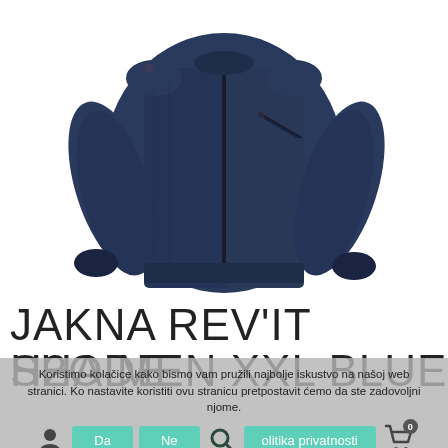[Figure (photo): A navy blue motorcycle jacket (Rev'it Shade H2O) displayed against a white background, showing the front and side view with zipper details.]
JAKNA REV'IT SHADE H2O MEN XXL BLUE
Koristimo kolačice kako bismo vam pružili najbolje iskustvo na našoj web stranici. Ko nastavite koristiti ovu stranicu pretpostavit ćemo da ste zadovoljni njome.
Da  Ne  Politika privatnosti